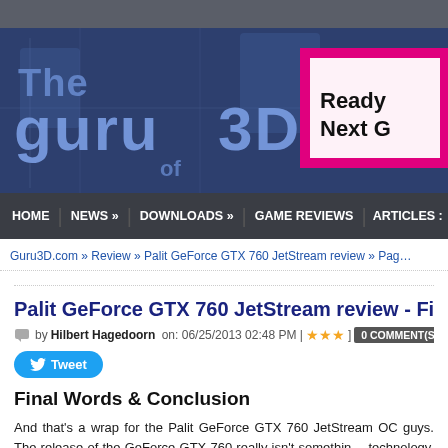[Figure (screenshot): The Guru of 3D website banner logo with blue circuit board background and pink advertisement banner on right reading 'Ready Next G']
HOME | NEWS » | DOWNLOADS » | GAME REVIEWS | ARTICLES :
Guru3D.com » Review » Palit GeForce GTX 760 JetStream review » Pag…
Palit GeForce GTX 760 JetStream review - Final w…
by Hilbert Hagedoorn on: 06/25/2013 02:48 PM | ★★★ ] 0 COMMENT(S)
Tweet
Final Words & Conclusion
And that's a wrap for the Palit GeForce GTX 760 JetStream OC guys. The release of the GeForce GTX 760 really isn't somethin… technology. The GeForce GTX 760 is a GTX 680 GPU with two o…